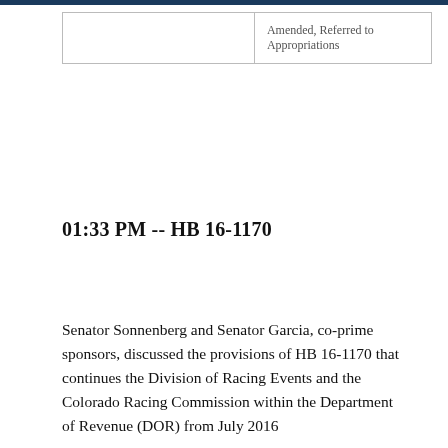|  |  |
| --- | --- |
|  | Amended, Referred to Appropriations |
01:33 PM -- HB 16-1170
Senator Sonnenberg and Senator Garcia, co-prime sponsors, discussed the provisions of HB 16-1170 that continues the Division of Racing Events and the Colorado Racing Commission within the Department of Revenue (DOR) from July 2016